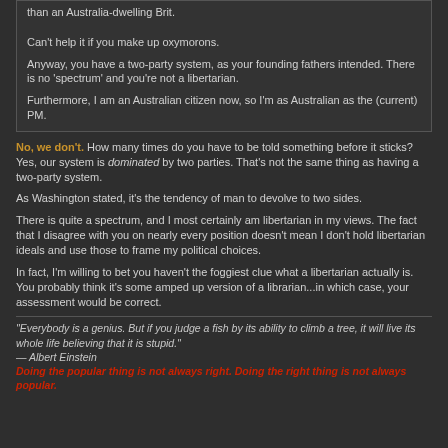than an Australia-dwelling Brit.
Can't help it if you make up oxymorons.
Anyway, you have a two-party system, as your founding fathers intended. There is no 'spectrum' and you're not a libertarian.
Furthermore, I am an Australian citizen now, so I'm as Australian as the (current) PM.
No, we don't. How many times do you have to be told something before it sticks? Yes, our system is dominated by two parties. That's not the same thing as having a two-party system.
As Washington stated, it's the tendency of man to devolve to two sides.
There is quite a spectrum, and I most certainly am libertarian in my views. The fact that I disagree with you on nearly every position doesn't mean I don't hold libertarian ideals and use those to frame my political choices.
In fact, I'm willing to bet you haven't the foggiest clue what a libertarian actually is. You probably think it's some amped up version of a librarian...in which case, your assessment would be correct.
"Everybody is a genius. But if you judge a fish by its ability to climb a tree, it will live its whole life believing that it is stupid." — Albert Einstein
Doing the popular thing is not always right. Doing the right thing is not always popular.